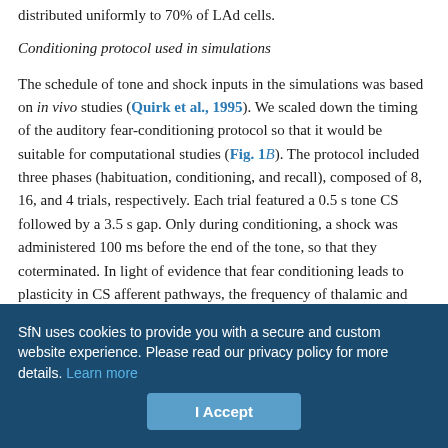distributed uniformly to 70% of LAd cells.
Conditioning protocol used in simulations
The schedule of tone and shock inputs in the simulations was based on in vivo studies (Quirk et al., 1995). We scaled down the timing of the auditory fear-conditioning protocol so that it would be suitable for computational studies (Fig. 1B). The protocol included three phases (habituation, conditioning, and recall), composed of 8, 16, and 4 trials, respectively. Each trial featured a 0.5 s tone CS followed by a 3.5 s gap. Only during conditioning, a shock was administered 100 ms before the end of the tone, so that they coterminated. In light of evidence that fear conditioning leads to plasticity in CS afferent pathways, the frequency of thalamic and cortical tone inputs was
SfN uses cookies to provide you with a secure and custom website experience. Please read our privacy policy for more details. Learn more
I Accept